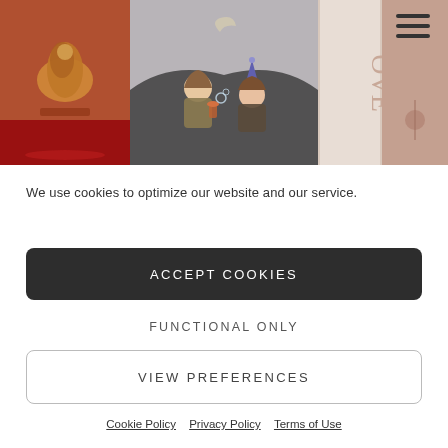[Figure (photo): Three-panel image strip at top: left panel shows a warm-toned still life with golden/bronze objects on a red surface; center panel shows a children's book illustration of two children under a dark blanket with a crescent moon above, one child wearing a party hat; right panel shows spines of books including one labeled 'OVE' with decorative details.]
We use cookies to optimize our website and our service.
ACCEPT COOKIES
FUNCTIONAL ONLY
VIEW PREFERENCES
Cookie Policy   Privacy Policy   Terms of Use